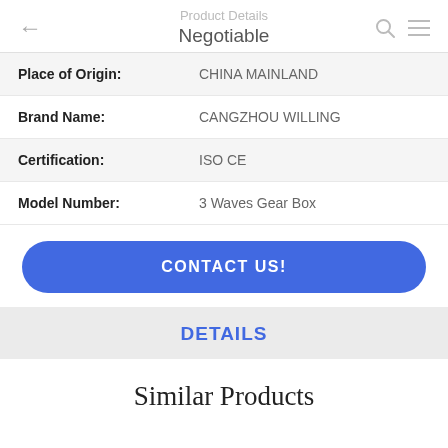Product Details
Negotiable
| Place of Origin: | CHINA MAINLAND |
| Brand Name: | CANGZHOU WILLING |
| Certification: | ISO CE |
| Model Number: | 3 Waves Gear Box |
CONTACT US!
DETAILS
Similar Products